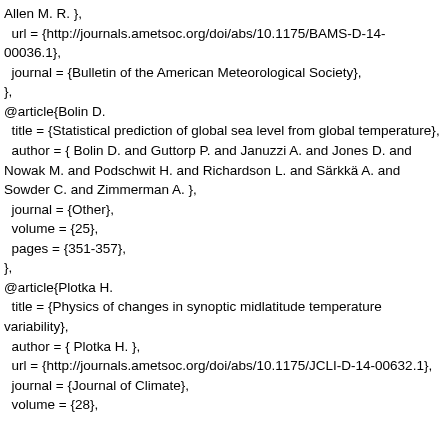Allen M. R. },
  url = {http://journals.ametsoc.org/doi/abs/10.1175/BAMS-D-14-00036.1},
  journal = {Bulletin of the American Meteorological Society},
},
@article{Bolin D.
  title = {Statistical prediction of global sea level from global temperature},
  author = { Bolin D. and Guttorp P. and Januzzi A. and Jones D. and Nowak M. and Podschwit H. and Richardson L. and Särkkä A. and Sowder C. and Zimmerman A. },
  journal = {Other},
  volume = {25},
  pages = {351-357},
},
@article{Plotka H.
  title = {Physics of changes in synoptic midlatitude temperature variability},
  author = { Plotka H. },
  url = {http://journals.ametsoc.org/doi/abs/10.1175/JCLI-D-14-00632.1},
  journal = {Journal of Climate},
  volume = {28},